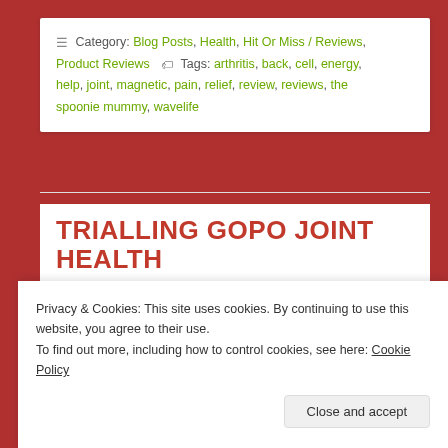Category: Blog Posts, Health, Hit Or Miss / Reviews, Product Reviews   Tags: arthritis, back, cell, energy, help, joint, magnetic, pain, relief, review, reviews, the spoonie mummy, wavelife
TRIALLING GOPO JOINT HEALTH
Posted on April 14, 2020 by thespooniemummy
Privacy & Cookies: This site uses cookies. By continuing to use this website, you agree to their use.
To find out more, including how to control cookies, see here: Cookie Policy